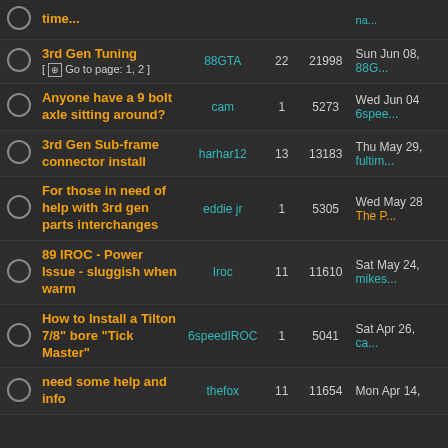|  | Topic | Author | Replies | Views | Last Post |
| --- | --- | --- | --- | --- | --- |
|  | time... |  |  |  |  |
|  | 3rd Gen Tuning [ Go to page: 1, 2 ] | 88GTA | 22 | 21998 | Sun Jun 08, 88G... |
|  | Anyone have a 9 bolt axle sitting around? | cam | 1 | 5273 | Wed Jun 04 6spee... |
|  | 3rd Gen Sub-frame connector install | harhar12 | 13 | 13183 | Thu May 29, fultim... |
|  | For those in need of help with 3rd gen parts interchanges | eddie jr | 1 | 5305 | Wed May 28 The P... |
|  | 89 IROC - Power Issue - sluggish when warm | Iroc | 11 | 11610 | Sat May 24, mikes... |
|  | How to Install a Tilton 7/8" bore "Tick Master" | 6speedIROC | 1 | 5041 | Sat Apr 26, ca... |
|  | need some help and info | thefox | 11 | 11654 | Mon Apr 14, |